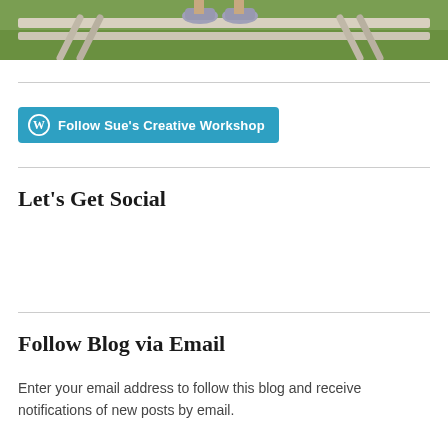[Figure (photo): Partial photo of a person sitting on a white wooden bench outdoors on grass, showing their sneakers and legs. The image is cropped to show mainly the bottom of the bench and feet.]
[Figure (other): Follow Sue's Creative Workshop button — a teal/cyan rounded rectangle button with WordPress logo icon and text 'Follow Sue's Creative Workshop']
Let's Get Social
Follow Blog via Email
Enter your email address to follow this blog and receive notifications of new posts by email.